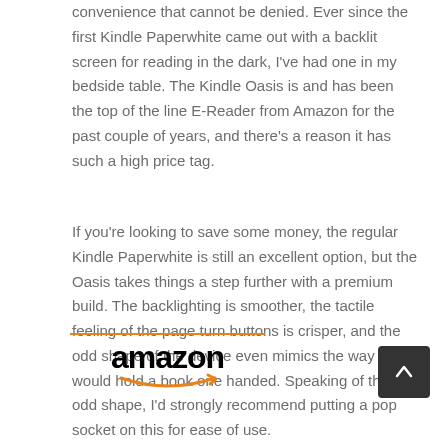convenience that cannot be denied. Ever since the first Kindle Paperwhite came out with a backlit screen for reading in the dark, I've had one in my bedside table. The Kindle Oasis is and has been the top of the line E-Reader from Amazon for the past couple of years, and there's a reason it has such a high price tag.
If you're looking to save some money, the regular Kindle Paperwhite is still an excellent option, but the Oasis takes things a step further with a premium build. The backlighting is smoother, the tactile feeling of the page turn buttons is crisper, and the odd shape of the device even mimics the way you would hold a book one handed. Speaking of the odd shape, I'd strongly recommend putting a pop socket on this for ease of use.
[Figure (logo): Amazon logo with orange bar above and smile arrow below]